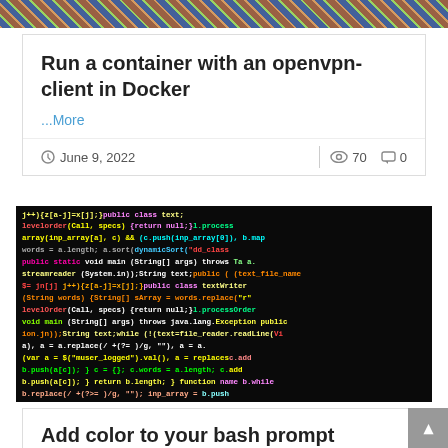[Figure (photo): Colorful code screenshot strip at top of page]
Run a container with an openvpn-client in Docker
...More
June 9, 2022    70    0
[Figure (photo): Colorful code on dark background, showing Java/programming code with neon colors]
Add color to your bash prompt